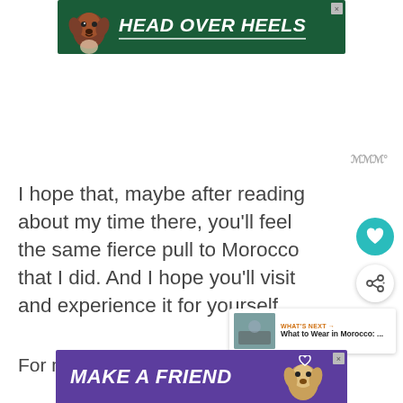[Figure (screenshot): Advertisement banner with dog image and text HEAD OVER HEELS on dark green background]
I hope that, maybe after reading about my time there, you'll feel the same fierce pull to Morocco that I did. And I hope you'll visit and experience it for yourself.
For more on Morocco:
[Figure (screenshot): Advertisement banner with dog image and text MAKE A FRIEND on purple background]